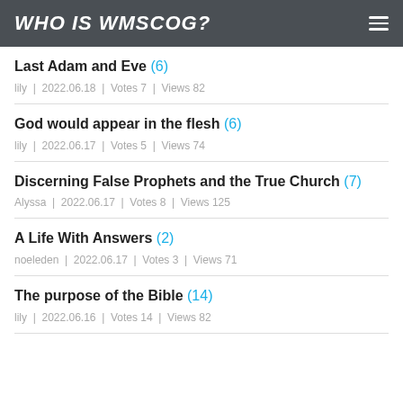WHO IS WMSCOG?
Last Adam and Eve (6)
lily | 2022.06.18 | Votes 7 | Views 82
God would appear in the flesh (6)
lily | 2022.06.17 | Votes 5 | Views 74
Discerning False Prophets and the True Church (7)
Alyssa | 2022.06.17 | Votes 8 | Views 125
A Life With Answers (2)
noeleden | 2022.06.17 | Votes 3 | Views 71
The purpose of the Bible (14)
lily | 2022.06.16 | Votes 14 | Views 82